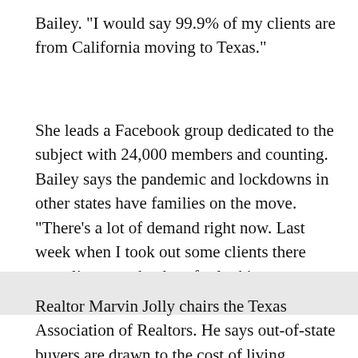Bailey. "I would say 99.9% of my clients are from California moving to Texas."
She leads a Facebook group dedicated to the subject with 24,000 members and counting. Bailey says the pandemic and lockdowns in other states have families on the move. "There's a lot of demand right now. Last week when I took out some clients there were lines out the door for looking at some of the houses."
Realtor Marvin Jolly chairs the Texas Association of Realtors. He says out-of-state buyers are drawn to the cost of living, strong school districts and entertainment attractions in North Texas. "The